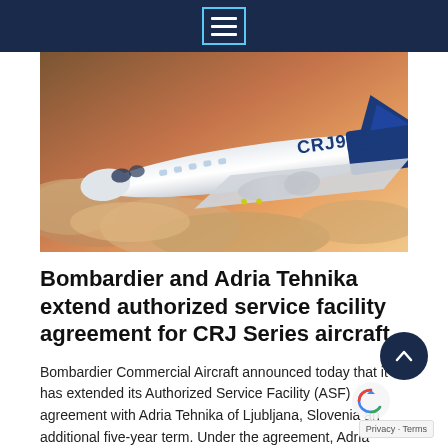[Figure (photo): A Bombardier CRJ Series aircraft in flight above clouds with a sunset background. The aircraft is white with blue livery and 'CRJ900' markings on the fuselage.]
Bombardier and Adria Tehnika extend authorized service facility agreement for CRJ Series aircraft
Bombardier Commercial Aircraft announced today that it has extended its Authorized Service Facility (ASF) agreement with Adria Tehnika of Ljubljana, Slovenia an additional five-year term. Under the agreement, Adria Tehnika is designated as an authorized service provider.